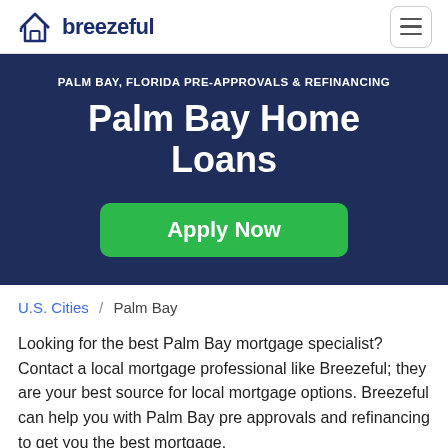[Figure (logo): Breezeful logo with house icon and wordmark in navy blue]
PALM BAY, FLORIDA PRE-APPROVALS & REFINANCING
Palm Bay Home Loans
Apply Now
U.S. Cities / Palm Bay
Looking for the best Palm Bay mortgage specialist? Contact a local mortgage professional like Breezeful; they are your best source for local mortgage options. Breezeful can help you with Palm Bay pre approvals and refinancing to get you the best mortgage.